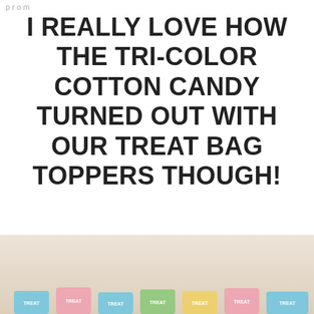p r o m
I REALLY LOVE HOW THE TRI-COLOR COTTON CANDY TURNED OUT WITH OUR TREAT BAG TOPPERS THOUGH!
[Figure (photo): Partial photo of cotton candy treat bags with colorful bag toppers at the bottom of the page]